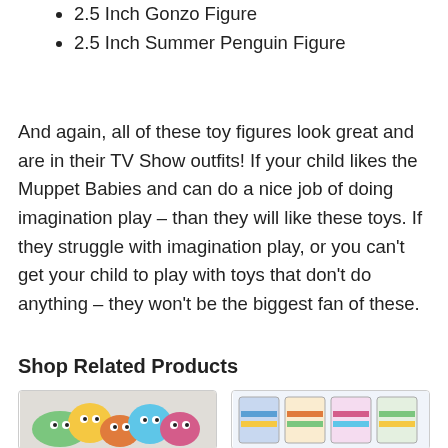2.5 Inch Gonzo Figure
2.5 Inch Summer Penguin Figure
And again, all of these toy figures look great and are in their TV Show outfits! If your child likes the Muppet Babies and can do a nice job of doing imagination play – than they will like these toys. If they struggle with imagination play, or you can't get your child to play with toys that don't do anything – they won't be the biggest fan of these.
Shop Related Products
[Figure (photo): Photo of Muppet Babies characters group illustration]
[Figure (photo): Photo of Muppet Babies themed bandages/stickers product packaging]